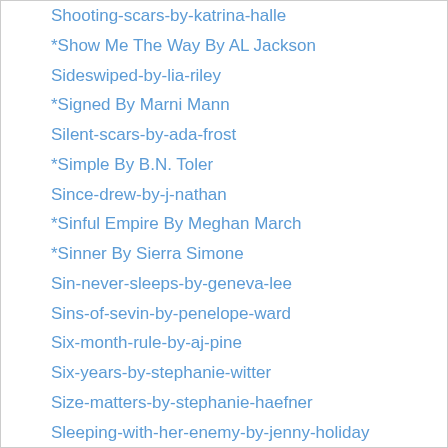Shooting-scars-by-katrina-halle
*Show Me The Way By AL Jackson
Sideswiped-by-lia-riley
*Signed By Marni Mann
Silent-scars-by-ada-frost
*Simple By B.N. Toler
Since-drew-by-j-nathan
*Sinful Empire By Meghan March
*Sinner By Sierra Simone
Sin-never-sleeps-by-geneva-lee
Sins-of-sevin-by-penelope-ward
Six-month-rule-by-aj-pine
Six-years-by-stephanie-witter
Size-matters-by-stephanie-haefner
Sleeping-with-her-enemy-by-jenny-holiday
Slow-grind-by-eva-spencer
Slow-play-by-monica-murphy
Slow-ride-by-cathryn-fox
Smolder-by-karen-erickson
Snowy-christmas-tale-by-m-leighton
*Somebody Else's Sky By Jessica Hawkins
Some-sort-of-love-by-melanie-harlow